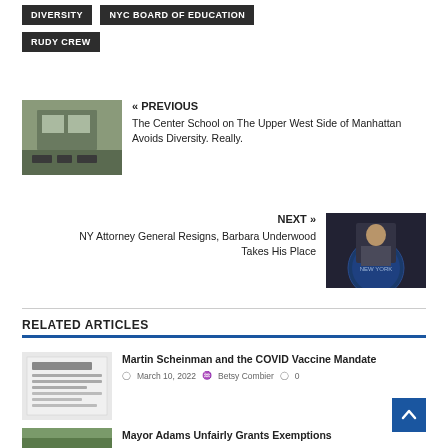DIVERSITY
NYC BOARD OF EDUCATION
RUDY CREW
« PREVIOUS
The Center School on The Upper West Side of Manhattan Avoids Diversity. Really.
NEXT »
NY Attorney General Resigns, Barbara Underwood Takes His Place
RELATED ARTICLES
Martin Scheinman and the COVID Vaccine Mandate
March 10, 2022  Betsy Combier  0
Mayor Adams Unfairly Grants Exemptions